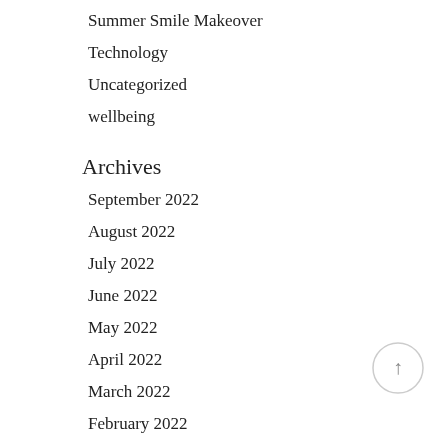Summer Smile Makeover
Technology
Uncategorized
wellbeing
Archives
September 2022
August 2022
July 2022
June 2022
May 2022
April 2022
March 2022
February 2022
January 2022
December 2021